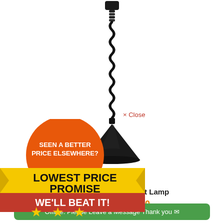[Figure (photo): Black retractable wide heat lamp hanging from ceiling mount, shown against white background]
× Close
[Figure (infographic): Lowest Price Promise badge: orange circle with 'SEEN A BETTER PRICE ELSEWHERE?' text, yellow ribbon banner with 'LOWEST PRICE PROMISE' in bold black, red bar with 'WE'LL BEAT IT!' in white, and three gold stars]
tractable Wide Heat Lamp
£645.00
Offline. Please Leave a Message Thank you ✉